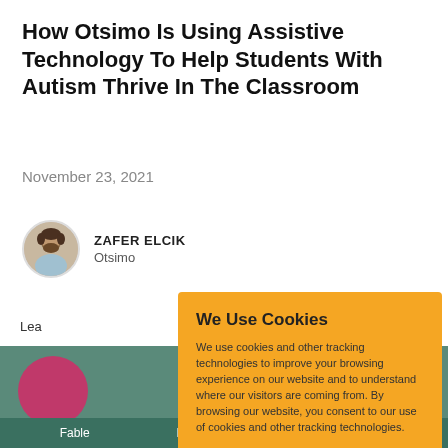How Otsimo Is Using Assistive Technology To Help Students With Autism Thrive In The Classroom
November 23, 2021
ZAFER ELCIK
Otsimo
Lea
[Figure (illustration): Background strip with teal/green color and circular pink/magenta shape, with bottom bar showing Fable, Puffin Innovations, Resilient Coders labels]
We Use Cookies
We use cookies and other tracking technologies to improve your browsing experience on our website and to understand where our visitors are coming from. By browsing our website, you consent to our use of cookies and other tracking technologies.
ACCEPT   REJECT